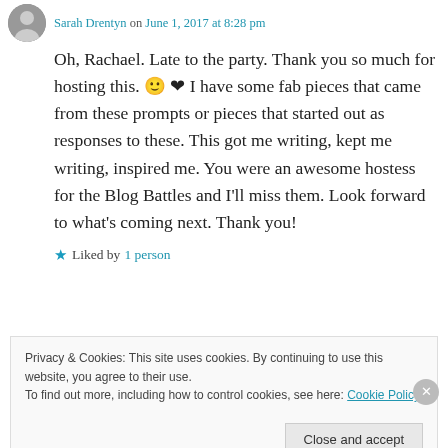Sarah Drentyn on June 1, 2017 at 8:28 pm
Oh, Rachael. Late to the party. Thank you so much for hosting this. 🙂 ❤ I have some fab pieces that came from these prompts or pieces that started out as responses to these. This got me writing, kept me writing, inspired me. You were an awesome hostess for the Blog Battles and I'll miss them. Look forward to what's coming next. Thank you!
Liked by 1 person
Privacy & Cookies: This site uses cookies. By continuing to use this website, you agree to their use. To find out more, including how to control cookies, see here: Cookie Policy
Close and accept